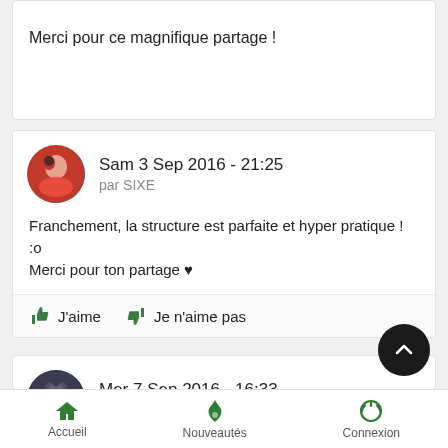Merci pour ce magnifique partage !
Sam 3 Sep 2016 - 21:25
par SIXE
Franchement, la structure est parfaite et hyper pratique ! :o
Merci pour ton partage ♥
J'aime   Je n'aime pas
Mer 7 Sep 2016 - 16:33
par Bunny Lune
Merci pour le partage. Très belles catégories.
Accueil   Nouveautés   Connexion